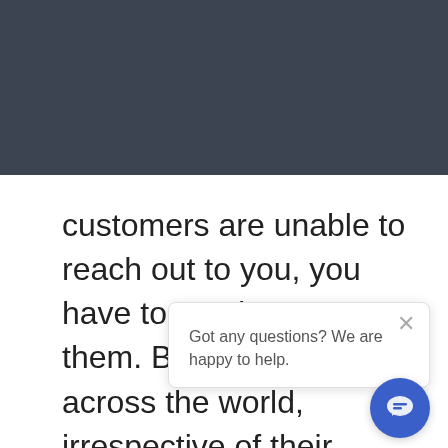Should you step into the e-commerce world or not? When
customers are unable to reach out to you, you have to reach out to them. Businesses across the world, irrespective of their sizes, are slowly transitioning their offline businesses online. You can use the same way to make your business available to your customers online. In addition to
Got any questions? We are happy to help.